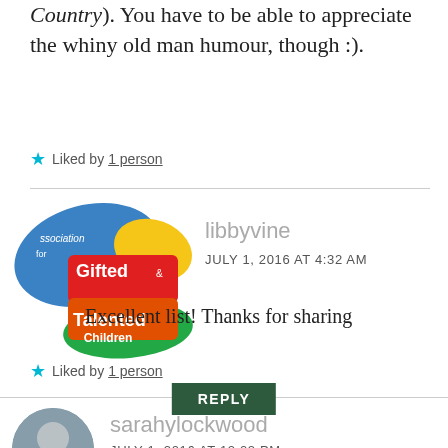Country). You have to be able to appreciate the whiny old man humour, though :).
★ Liked by 1 person
[Figure (logo): Association for Gifted & Talented Children logo with colorful overlapping shapes in blue, red, yellow and green]
libbyvine
JULY 1, 2016 AT 4:32 AM
Excellent list! Thanks for sharing
★ Liked by 1 person
REPLY
[Figure (photo): Profile photo of sarahylockwood, a woman smiling]
sarahylockwood
JULY 1, 2016 AT 12:02 PM